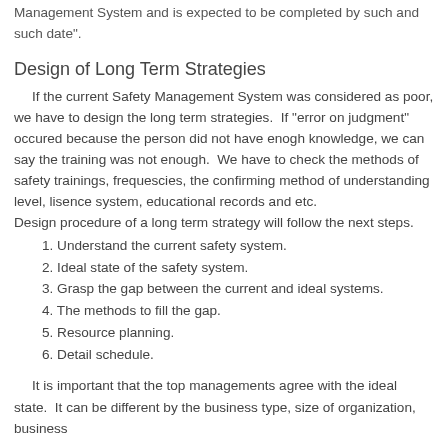Management System and is expected to be completed by such and such date".
Design of Long Term Strategies
If the current Safety Management System was considered as poor, we have to design the long term strategies.  If "error on judgment" occured because the person did not have enogh knowledge, we can say the training was not enough.  We have to check the methods of safety trainings, frequescies, the confirming method of understanding level, lisence system, educational records and etc.
Design procedure of a long term strategy will follow the next steps.
1. Understand the current safety system.
2. Ideal state of the safety system.
3. Grasp the gap between the current and ideal systems.
4. The methods to fill the gap.
5. Resource planning.
6. Detail schedule.
It is important that the top managements agree with the ideal state.  It can be different by the business type, size of organization, business